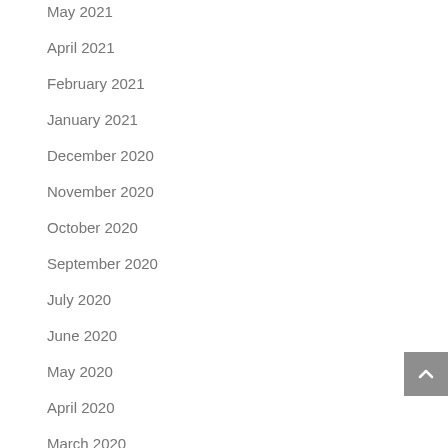May 2021
April 2021
February 2021
January 2021
December 2020
November 2020
October 2020
September 2020
July 2020
June 2020
May 2020
April 2020
March 2020
February 2020
January 2020